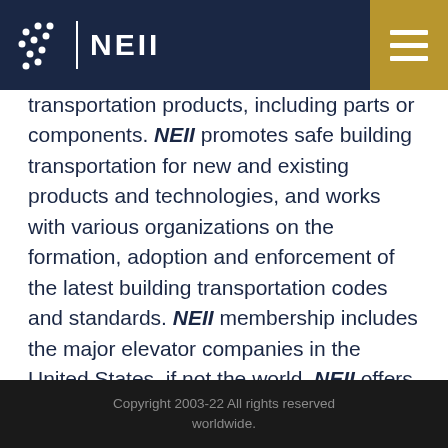NEII
transportation products, including parts or components. NEII promotes safe building transportation for new and existing products and technologies, and works with various organizations on the formation, adoption and enforcement of the latest building transportation codes and standards. NEII membership includes the major elevator companies in the United States, if not the world. NEII offers Regular, Trust and Individual memberships. For more information about NEII, please visit www.neii.org.
Copyright 2003-22 All rights reserved worldwide.